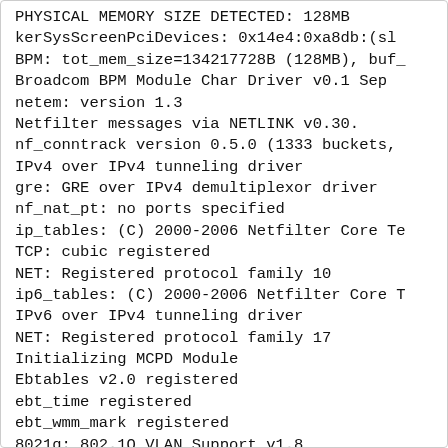PHYSICAL MEMORY SIZE DETECTED: 128MB
kerSysScreenPciDevices: 0x14e4:0xa8db:(sl
BPM: tot_mem_size=134217728B (128MB), buf_
Broadcom BPM Module Char Driver v0.1 Sep
netem: version 1.3
Netfilter messages via NETLINK v0.30.
nf_conntrack version 0.5.0 (1333 buckets,
IPv4 over IPv4 tunneling driver
gre: GRE over IPv4 demultiplexor driver
nf_nat_pt: no ports specified
ip_tables: (C) 2000-2006 Netfilter Core Te
TCP: cubic registered
NET: Registered protocol family 10
ip6_tables: (C) 2000-2006 Netfilter Core T
IPv6 over IPv4 tunneling driver
NET: Registered protocol family 17
Initializing MCPD Module
Ebtables v2.0 registered
ebt_time registered
ebt_wmm_mark registered
8021q: 802.1Q VLAN Support v1.8